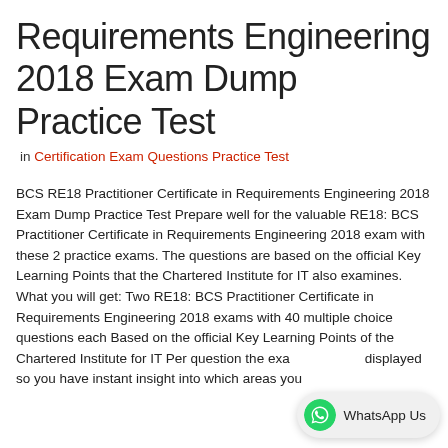Requirements Engineering 2018 Exam Dump Practice Test
in Certification Exam Questions Practice Test
BCS RE18 Practitioner Certificate in Requirements Engineering 2018 Exam Dump Practice Test Prepare well for the valuable RE18: BCS Practitioner Certificate in Requirements Engineering 2018 exam with these 2 practice exams. The questions are based on the official Key Learning Points that the Chartered Institute for IT also examines. What you will get: Two RE18: BCS Practitioner Certificate in Requirements Engineering 2018 exams with 40 multiple choice questions each Based on the official Key Learning Points of the Chartered Institute for IT Per question the exa displayed so you have instant insight into which areas you